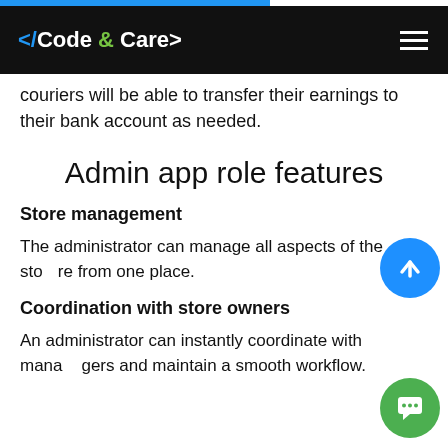</Code & Care>
couriers will be able to transfer their earnings to their bank account as needed.
Admin app role features
Store management
The administrator can manage all aspects of the store from one place.
Coordination with store owners
An administrator can instantly coordinate with managers and maintain a smooth workflow.